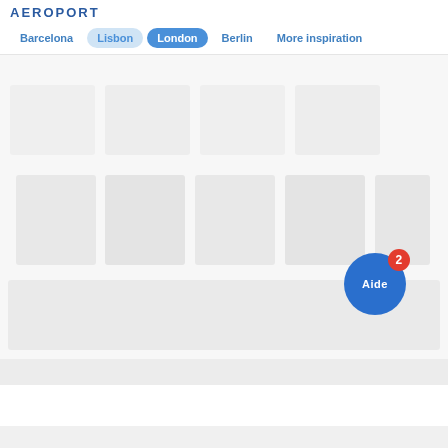AEROPORT
Barcelona  Lisbon  London  Berlin  More inspiration
[Figure (screenshot): Faded/blurred content area showing destination city images (London selected), mostly white/grey placeholder area]
Aide 2